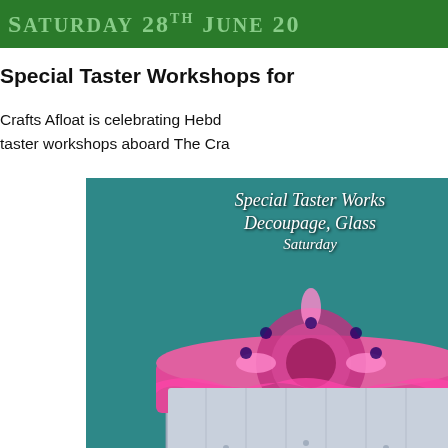SATURDAY 28TH JUNE 20...
Special Taster Workshops for ...
Crafts Afloat is celebrating Hebd... taster workshops aboard The Cra...
[Figure (photo): Decorative craft box with colourful mandala pattern on teal background, overlaid with italic white text reading 'Special Taster Work... Decoupage, Glass... Saturday...']
Spend a delightful hour making a... jewellery box and a felted soap e... materials and refreshments inclu...